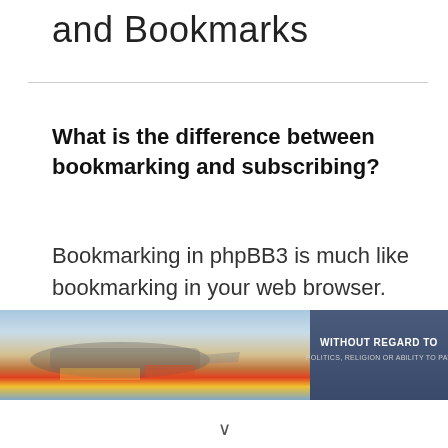and Bookmarks
What is the difference between bookmarking and subscribing?
Bookmarking in phpBB3 is much like bookmarking in your web browser. You aren't alerted when there's an update, but you can come back to the topic later. Subscribing, however, will
[Figure (photo): Advertisement banner showing a cargo airplane being loaded, with text overlay reading 'WITHOUT REGARD TO POLITICS, RELIGION OR ABILITY TO PAY']